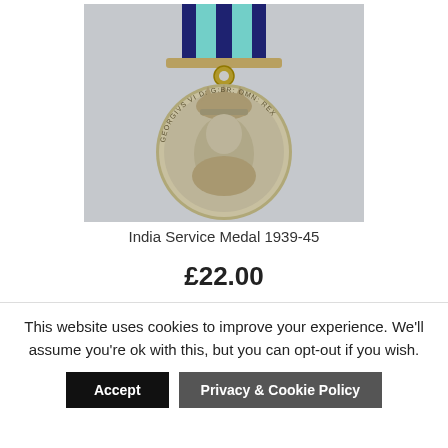[Figure (photo): India Service Medal 1939-45 showing the obverse with King George VI portrait and crown, suspended from a dark navy blue ribbon with two light teal/mint colored vertical stripes]
India Service Medal 1939-45
£22.00
This website uses cookies to improve your experience. We'll assume you're ok with this, but you can opt-out if you wish.
Accept
Privacy & Cookie Policy